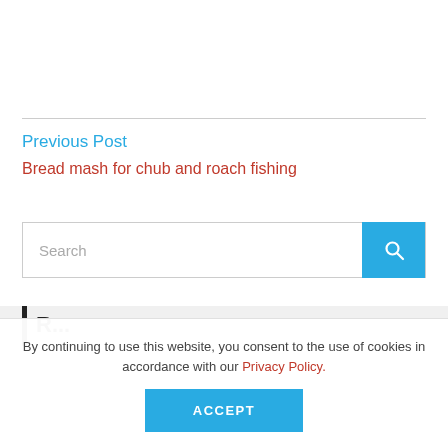Previous Post
Bread mash for chub and roach fishing
Search
By continuing to use this website, you consent to the use of cookies in accordance with our Privacy Policy.
ACCEPT